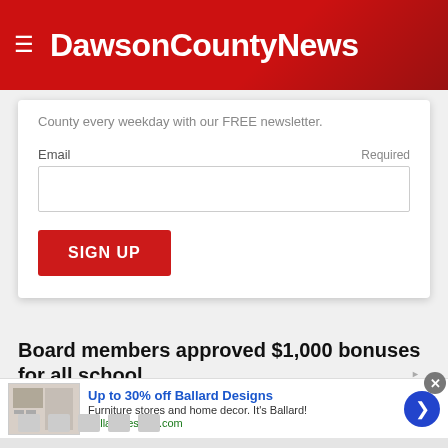DawsonCountyNews
County every weekday with our FREE newsletter.
Email
Required
SIGN UP
Board members approved $1,000 bonuses for all school
[Figure (screenshot): Advertisement banner: Up to 30% off Ballard Designs. Furniture stores and home decor. It's Ballard! ballarddesigns.com]